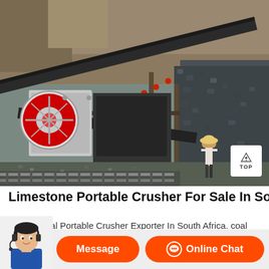[Figure (photo): Industrial limestone portable crusher machinery at a quarry/mining site in South Africa. Shows a jaw crusher with a red flywheel, conveyor belts, steel frame structure, and a worker walking beneath. Rocky terrain and crushed stone visible in the background.]
Limestone Portable Crusher For Sale In South Africa
Angola Coal Portable Crusher Exporter In South Africa. coal mobile crusher exporter in south. Get Price And Support Online limestone